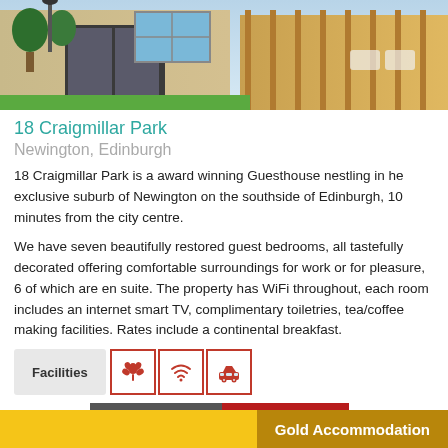[Figure (photo): Exterior photo of 18 Craigmillar Park guesthouse showing a stone building entrance with a blue window, garden, topiary plants, and wooden fencing]
18 Craigmillar Park
Newington, Edinburgh
18 Craigmillar Park is a award winning Guesthouse nestling in he exclusive suburb of Newington on the southside of Edinburgh, 10 minutes from the city centre.
We have seven beautifully restored guest bedrooms, all tastefully decorated offering comfortable surroundings for work or for pleasure, 6 of which are en suite. The property has WiFi throughout, each room includes an internet smart TV, complimentary toiletries, tea/coffee making facilities. Rates include a continental breakfast.
Facilities
+ Favourite   More Info >
Gold Accommodation